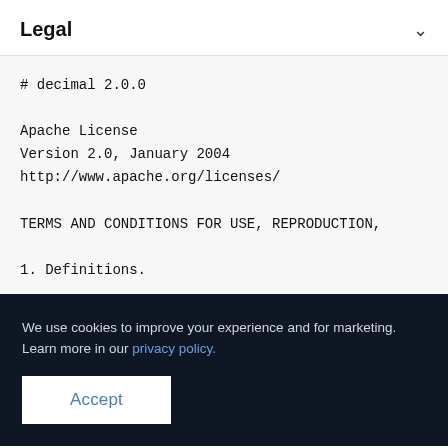Legal
# decimal 2.0.0

Apache License
Version 2.0, January 2004
http://www.apache.org/licenses/

TERMS AND CONDITIONS FOR USE, REPRODUCTION,

1. Definitions.

"L...tic
an...1 t

"L...r c
th...Li

"Legal Entity" shall mean the union of the
We use cookies to improve your experience and for marketing. Learn more in our privacy policy.
Accept